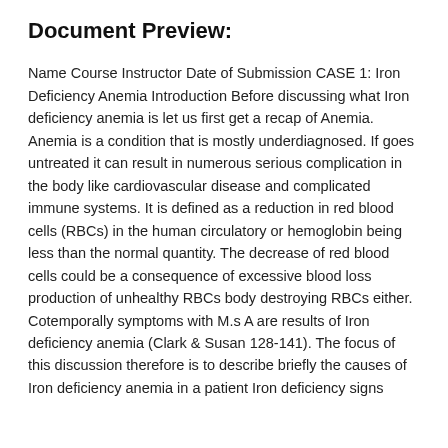Document Preview:
Name Course Instructor Date of Submission CASE 1: Iron Deficiency Anemia Introduction Before discussing what Iron deficiency anemia is let us first get a recap of Anemia. Anemia is a condition that is mostly underdiagnosed. If goes untreated it can result in numerous serious complication in the body like cardiovascular disease and complicated immune systems. It is defined as a reduction in red blood cells (RBCs) in the human circulatory or hemoglobin being less than the normal quantity. The decrease of red blood cells could be a consequence of excessive blood loss production of unhealthy RBCs body destroying RBCs either. Cotemporally symptoms with M.s A are results of Iron deficiency anemia (Clark &amp; Susan 128-141). The focus of this discussion therefore is to describe briefly the causes of Iron deficiency anemia in a patient Iron deficiency signs